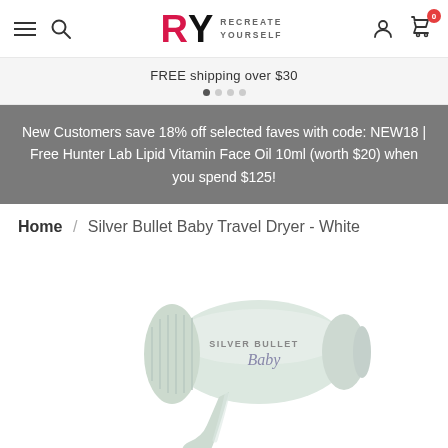RY RECREATE YOURSELF — navigation bar with hamburger, search, logo, user icon, cart (0)
FREE shipping over $30
New Customers save 18% off selected faves with code: NEW18 | Free Hunter Lab Lipid Vitamin Face Oil 10ml (worth $20) when you spend $125!
Home / Silver Bullet Baby Travel Dryer - White
[Figure (photo): White Silver Bullet Baby Travel hair dryer on white background, facing left, with 'SILVER BULLET Baby' text on the body]